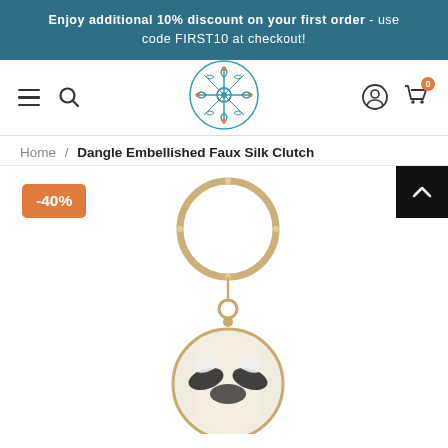Enjoy additional 10% discount on your first order - use code FIRST10 at checkout!
[Figure (screenshot): Website navigation bar with hamburger menu, search icon, decorative logo (teal and orange ornamental circle design), user account icon, and shopping cart icon with badge showing 0]
Home / Dangle Embellished Faux Silk Clutch
[Figure (photo): Product photo of a Dangle Embellished Faux Silk Clutch with a gold rhinestone bangle handle, gold chain, and a round beaded clutch bag with black and white geometric pattern. A -40% discount badge is shown in orange.]